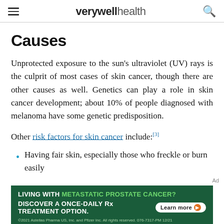verywell health
Causes
Unprotected exposure to the sun's ultraviolet (UV) rays is the culprit of most cases of skin cancer, though there are other causes as well. Genetics can play a role in skin cancer development; about 10% of people diagnosed with melanoma have some genetic predisposition.
Other risk factors for skin cancer include: [3]
Having fair skin, especially those who freckle or burn easily
[Figure (other): Advertisement banner: LIVING WITH METASTATIC PROSTATE CANCER? DISCOVER A ONCE-DAILY Rx TREATMENT OPTION. Learn more. ©2021 Astellas Pharma US, Inc. and Pfizer Inc. All rights reserved. 076-7317-PM 12/21]